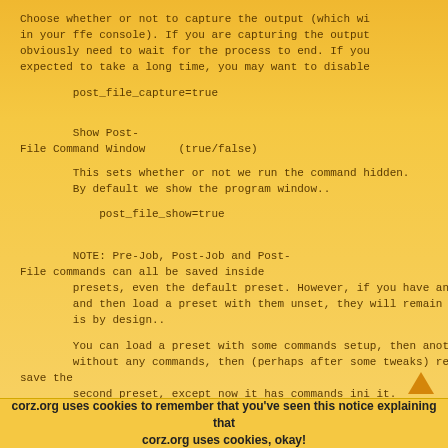Choose whether or not to capture the output (which wi
in your ffe console). If you are capturing the output
obviously need to wait for the process to end. If you
expected to take a long time, you may want to disable
post_file_capture=true
Show Post-File Command Window     (true/false)
This sets whether or not we run the command hidden.
By default we show the program window..
post_file_show=true
NOTE: Pre-Job, Post-Job and Post-File commands can all be saved inside
presets, even the default preset. However, if you have an
and then load a preset with them unset, they will remain
is by design..
You can load a preset with some commands setup, then anot
without any commands, then (perhaps after some tweaks) re save the
second preset, except now it has commands ini it.
corz.org uses cookies to remember that you've seen this notice explaining that corz.org uses cookies, okay!